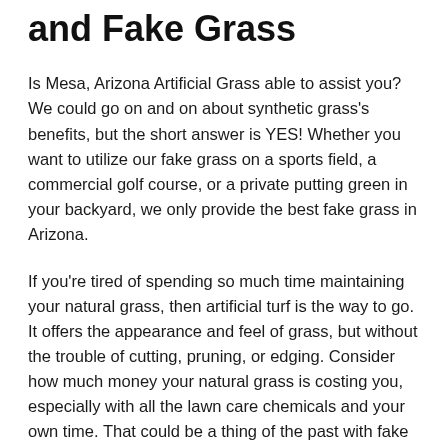and Fake Grass
Is Mesa, Arizona Artificial Grass able to assist you? We could go on and on about synthetic grass's benefits, but the short answer is YES! Whether you want to utilize our fake grass on a sports field, a commercial golf course, or a private putting green in your backyard, we only provide the best fake grass in Arizona.
If you're tired of spending so much time maintaining your natural grass, then artificial turf is the way to go. It offers the appearance and feel of grass, but without the trouble of cutting, pruning, or edging. Consider how much money your natural grass is costing you, especially with all the lawn care chemicals and your own time. That could be a thing of the past with fake